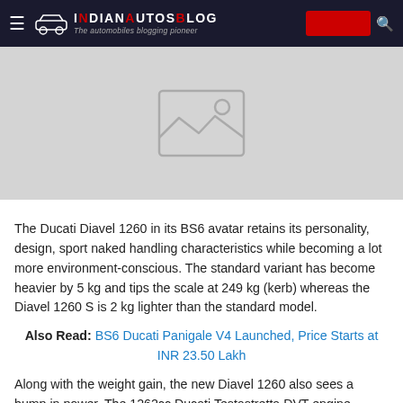IndianAutosBlog — The automobiles blogging pioneer
[Figure (photo): Placeholder image with mountain/landscape icon on grey background]
The Ducati Diavel 1260 in its BS6 avatar retains its personality, design, sport naked handling characteristics while becoming a lot more environment-conscious. The standard variant has become heavier by 5 kg and tips the scale at 249 kg (kerb) whereas the Diavel 1260 S is 2 kg lighter than the standard model.
Also Read: BS6 Ducati Panigale V4 Launched, Price Starts at INR 23.50 Lakh
Along with the weight gain, the new Diavel 1260 also sees a bump in power. The 1262cc Ducati Testastretta DVT engine